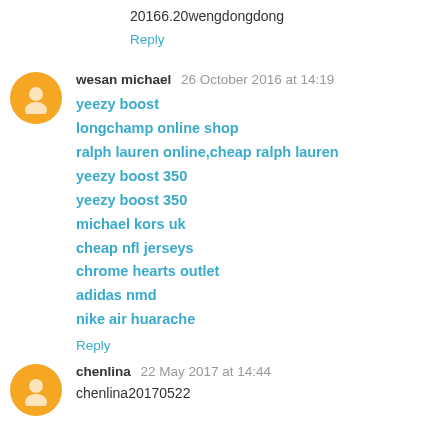20166.20wengdongdong
Reply
wesan michael  26 October 2016 at 14:19
yeezy boost
longchamp online shop
ralph lauren online,cheap ralph lauren
yeezy boost 350
yeezy boost 350
michael kors uk
cheap nfl jerseys
chrome hearts outlet
adidas nmd
nike air huarache
Reply
chenlina  22 May 2017 at 14:44
chenlina20170522